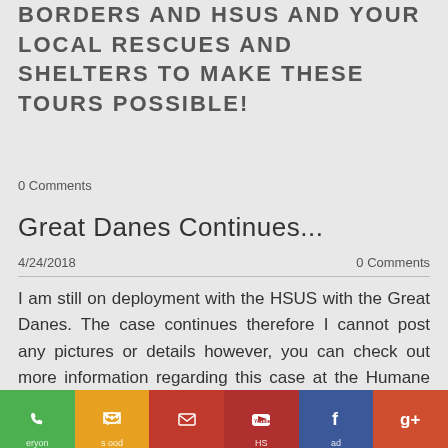BORDERS AND HSUS AND YOUR LOCAL RESCUES AND SHELTERS TO MAKE THESE TOURS POSSIBLE!
0 Comments
Great Danes Continues...
4/24/2018
0 Comments
I am still on deployment with the HSUS with the Great Danes. The case continues therefore I cannot post any pictures or details however, you can check out more information regarding this case at the Humane Society of the United States website and FB pages. I want to thank
[Figure (infographic): Social media sharing buttons row: phone (green), SMS (orange/yellow), email (red), YouTube (dark red), Facebook (blue), Google+ (orange-red)]